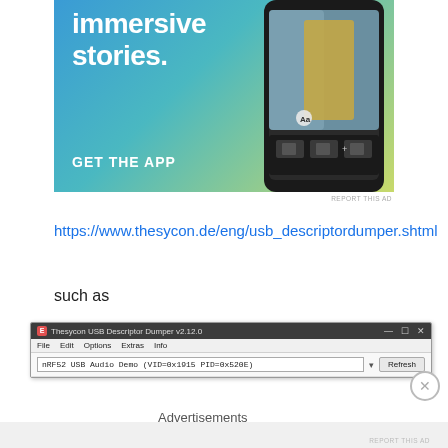[Figure (screenshot): Advertisement banner with text 'Create immersive stories. GET THE APP' on blue-green gradient background with phone image]
REPORT THIS AD
https://www.thesycon.de/eng/usb_descriptordumper.shtml
such as
[Figure (screenshot): Thesycon USB Descriptor Dumper v2.12.0 Windows application screenshot showing device selector with 'nRF52 USB Audio Demo (VID=0x1915 PID=0x520E)' and Refresh button]
Advertisements
REPORT THIS AD